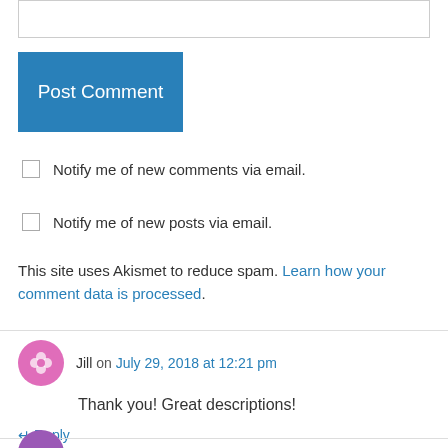Post Comment
Notify me of new comments via email.
Notify me of new posts via email.
This site uses Akismet to reduce spam. Learn how your comment data is processed.
Jill on July 29, 2018 at 12:21 pm
Thank you! Great descriptions!
↵ Reply
[Figure (illustration): Partial avatar icon at bottom of page]